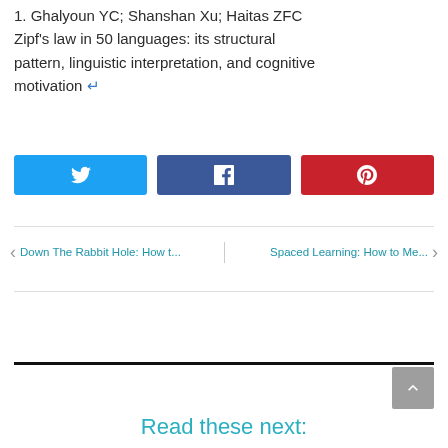1. Ghalyoun YC; Shanshan Xu; Haitas ZFC Zipf's law in 50 languages: its structural pattern, linguistic interpretation, and cognitive motivation ↵
[Figure (other): Three social sharing buttons: Twitter (blue), Facebook (dark blue), Pinterest (red)]
Down The Rabbit Hole: How t...
Spaced Learning: How to Me...
Read these next: